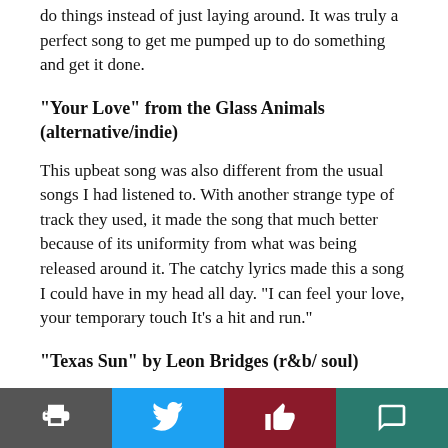do things instead of just laying around. It was truly a perfect song to get me pumped up to do something and get it done.
“Your Love” from the Glass Animals (alternative/indie)
This upbeat song was also different from the usual songs I had listened to. With another strange type of track they used, it made the song that much better because of its uniformity from what was being released around it. The catchy lyrics made this a song I could have in my head all day. “I can feel your love, your temporary touch It’s a hit and run.”
“Texas Sun” by Leon Bridges (r&b/ soul)
This was a song I couldn’t get enough of this year, I
Print | Twitter | Like | Comment